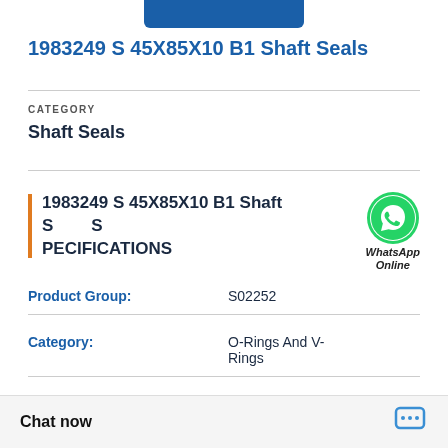[Figure (other): Blue button/banner at top of page]
1983249 S 45X85X10 B1 Shaft Seals
CATEGORY
Shaft Seals
1983249 S 45X85X10 B1 Shaft Seals SPECIFICATIONS
[Figure (logo): WhatsApp green phone icon with WhatsApp Online text]
| Field | Value |
| --- | --- |
| Product Group: | S02252 |
| Category: | O-Rings And V-Rings |
| Weight / Kilogram: | 0.026 |
| Brand: | SKF |
Chat now